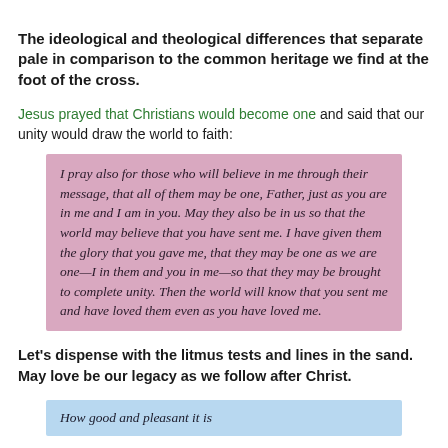The ideological and theological differences that separate pale in comparison to the common heritage we find at the foot of the cross.
Jesus prayed that Christians would become one and said that our unity would draw the world to faith:
I pray also for those who will believe in me through their message, that all of them may be one, Father, just as you are in me and I am in you. May they also be in us so that the world may believe that you have sent me. I have given them the glory that you gave me, that they may be one as we are one—I in them and you in me—so that they may be brought to complete unity. Then the world will know that you sent me and have loved them even as you have loved me.
Let's dispense with the litmus tests and lines in the sand.  May love be our legacy as we follow after Christ.
How good and pleasant it is